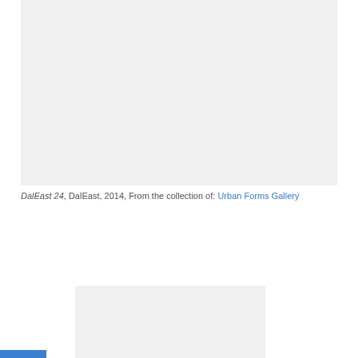[Figure (photo): Large light gray placeholder image area at the top of the page]
DalEast 24, DalEast, 2014, From the collection of: Urban Forms Gallery
[Figure (other): Gray placeholder image area with a circular chevron/down-arrow button in the center]